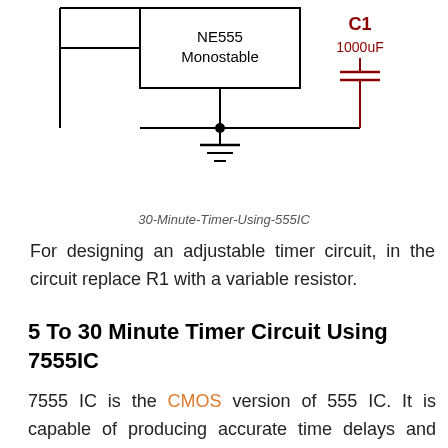[Figure (schematic): Partial circuit schematic showing NE555 Monostable IC with C1 1000uF capacitor and ground symbol]
30-Minute-Timer-Using-555IC
For designing an adjustable timer circuit, in the circuit replace R1 with a variable resistor.
5 To 30 Minute Timer Circuit Using 7555IC
7555 IC is the CMOS version of 555 IC. It is capable of producing accurate time delays and frequencies. When used in monostable mode, the pulse width of the output wave can be controlled using [scroll button] ernal